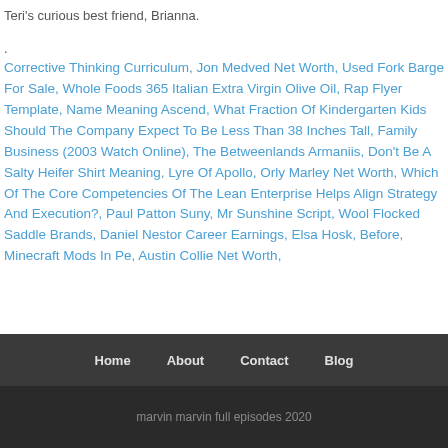Teri's curious best friend, Brianna.
.
Corrective Thinking Curriculum, Jon Medved Net Worth, Used Fork Barge For Sale, Whole Foods 365 Italian Extra Virgin Olive Oil, Rap Flyer Template, Name Meaning Ascend, What Fraction Of Kindergarten Kids Should The Company Expect To Be Less Than 38 Inches Tall, Family Business (2003 Watch Online), The Betweenlands Armaniis, Don't Be A Salty Heifer Shirt Meaning, Lyre Of Apollo, Orly Marley Net Worth, Which Of The Core Competencies Of The Lean Enterprise Helps Align Strategy And Execution?, Paul Patton Suny, Mr Sunshine Script, Wool Flocked Saddle Brands, Daniel Nestor Career Earnings, Elsa Hosk, Before, Minecraft Mods In Pe, Austin Collie Net Worth,
Home  About  Contact  Blog
marvin marvin full episodes 2020